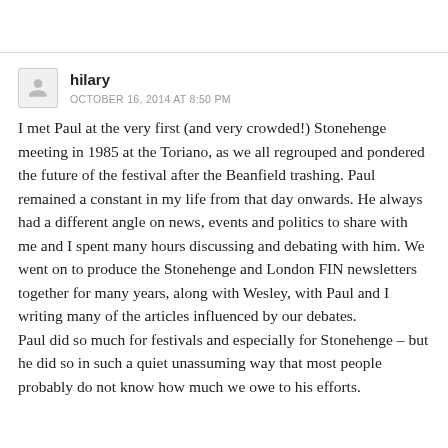hilary
OCTOBER 16, 2014 AT 8:50 PM
I met Paul at the very first (and very crowded!) Stonehenge meeting in 1985 at the Toriano, as we all regrouped and pondered the future of the festival after the Beanfield trashing. Paul remained a constant in my life from that day onwards. He always had a different angle on news, events and politics to share with me and I spent many hours discussing and debating with him. We went on to produce the Stonehenge and London FIN newsletters together for many years, along with Wesley, with Paul and I writing many of the articles influenced by our debates.
Paul did so much for festivals and especially for Stonehenge – but he did so in such a quiet unassuming way that most people probably do not know how much we owe to his efforts.